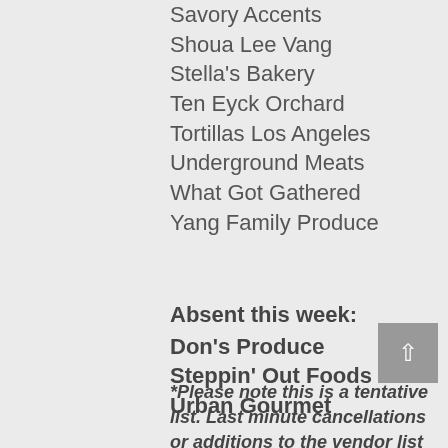Savory Accents
Shoua Lee Vang
Stella's Bakery
Ten Eyck Orchard
Tortillas Los Angeles
Underground Meats
What Got Gathered
Yang Family Produce
Absent this week:
Don's Produce
Steppin' Out Foods
Urban Gourmet
*Please note this is a tentative list. Last minute cancellations or additions to the vendor list are possible.